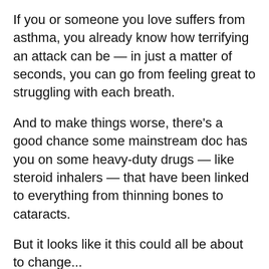If you or someone you love suffers from asthma, you already know how terrifying an attack can be — in just a matter of seconds, you can go from feeling great to struggling with each breath.
And to make things worse, there's a good chance some mainstream doc has you on some heavy-duty drugs — like steroid inhalers — that have been linked to everything from thinning bones to cataracts.
But it looks like it this could all be about to change...
Because University of North Carolina researchers have just discovered that a well-known vitamin could be the key to stopping asthma attacks for good.